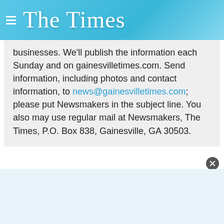The Times
businesses. We'll publish the information each Sunday and on gainesvilletimes.com. Send information, including photos and contact information, to news@gainesvilletimes.com; please put Newsmakers in the subject line. You also may use regular mail at Newsmakers, The Times, P.O. Box 838, Gainesville, GA 30503.
Gainesville broker among 13 honored for million-dollar sales
Jeffery E. Merry of Gainesville, owner and founder of The Business House Inc., was among 13 members of the Georgia Association of Business Brokers cited as part of the Million Dollar Club for 2009.